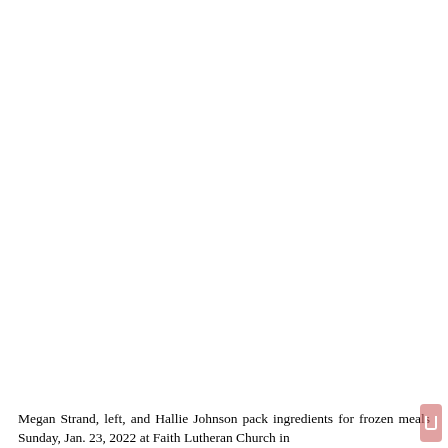[Figure (photo): Photo area showing Megan Strand and Hallie Johnson packing ingredients for frozen meals at Faith Lutheran Church on Sunday, Jan. 23, 2022. The upper portion of the image is white/blank as this is a partial page view.]
Megan Strand, left, and Hallie Johnson pack ingredients for frozen meals Sunday, Jan. 23, 2022 at Faith Lutheran Church in